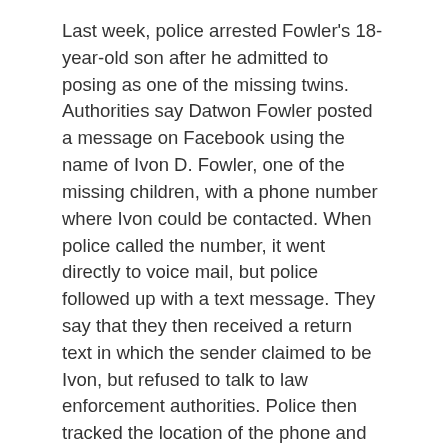Last week, police arrested Fowler's 18-year-old son after he admitted to posing as one of the missing twins. Authorities say Datwon Fowler posted a message on Facebook using the name of Ivon D. Fowler, one of the missing children, with a phone number where Ivon could be contacted. When police called the number, it went directly to voice mail, but police followed up with a text message. They say that they then received a return text in which the sender claimed to be Ivon, but refused to talk to law enforcement authorities. Police then tracked the location of the phone and found that it was in the Fowler home. They found Datwon there, along with the phone.
The initial investigation did not involve the twins, according to child welfare workers. They went to the Fowler home in late June to take her four children into